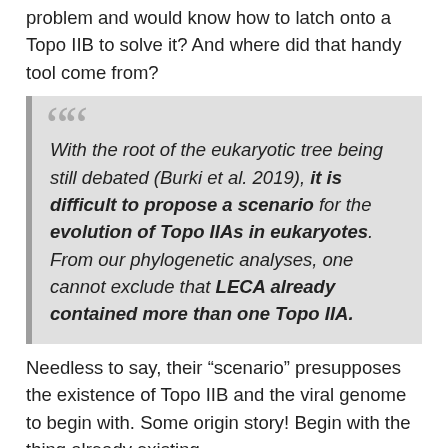problem and would know how to latch onto a Topo IIB to solve it? And where did that handy tool come from?
With the root of the eukaryotic tree being still debated (Burki et al. 2019), it is difficult to propose a scenario for the evolution of Topo IIAs in eukaryotes. From our phylogenetic analyses, one cannot exclude that LECA already contained more than one Topo IIA.
Needless to say, their “scenario” presupposes the existence of Topo IIB and the viral genome to begin with. Some origin story! Begin with the thing already existing.